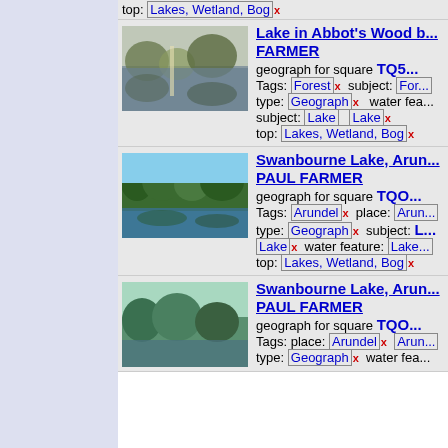top: Lakes, Wetland, Bog x
[Figure (photo): Lake in Abbot's Wood - photo of lake with trees and reflections]
Lake in Abbot's Wood b... FARMER
geograph for square TQ5...
Tags: Forest x   subject: For...
type: Geograph x   water fea...
subject: Lake   Lake x
top: Lakes, Wetland, Bog x
[Figure (photo): Swanbourne Lake, Arun - photo of lake with trees and clear sky reflection]
Swanbourne Lake, Arun... PAUL FARMER
geograph for square TQO...
Tags: Arundel x   place: Arun...
type: Geograph x   subject: L...
Lake x   water feature: Lake...
top: Lakes, Wetland, Bog x
[Figure (photo): Swanbourne Lake, Arun - second photo of lake with green trees]
Swanbourne Lake, Arun... PAUL FARMER
geograph for square TQO...
Tags: place: Arundel x   Arun...
type: Geograph x   water fea...